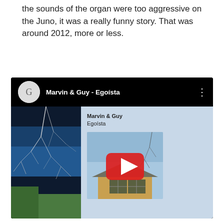the sounds of the organ were too aggressive on the Juno, it was a really funny story. That was around 2012, more or less.
[Figure (screenshot): YouTube embed showing Marvin & Guy - Egoísta music video/album. Dark/black background with YouTube player UI. Left side shows a nighttime photo of bare tree branches against blue sky. Right side shows album info 'Marvin & Guy / Egoísta' above a thumbnail of a house exterior with a large YouTube red play button overlay.]